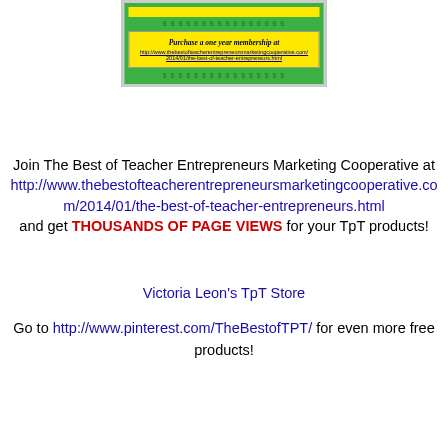[Figure (illustration): Green-bordered card with yellow top bar, dollar sign strip, and yellow inner box containing italic bold text 'Purchase a one year membership at' with a URL link below]
Join The Best of Teacher Entrepreneurs Marketing Cooperative at http://www.thebestofteacherentrepreneursmarketingcooperative.com/2014/01/the-best-of-teacher-entrepreneurs.html and get THOUSANDS OF PAGE VIEWS for your TpT products!
Victoria Leon's TpT Store
Go to http://www.pinterest.com/TheBestofTPT/ for even more free products!